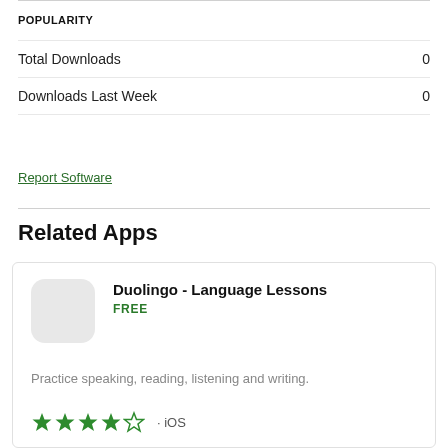POPULARITY
|  |  |
| --- | --- |
| Total Downloads | 0 |
| Downloads Last Week | 0 |
Report Software
Related Apps
Duolingo - Language Lessons
FREE
Practice speaking, reading, listening and writing.
★★★★☆ · iOS